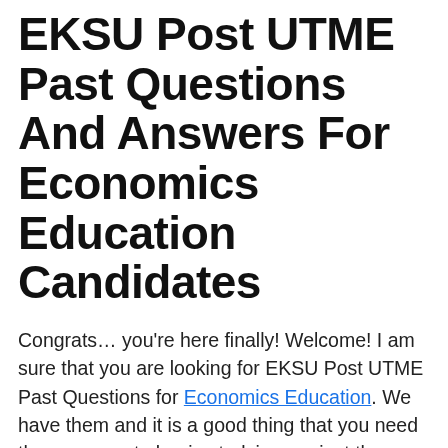EKSU Post UTME Past Questions And Answers For Economics Education Candidates
Congrats… you’re here finally! Welcome! I am sure that you are looking for EKSU Post UTME Past Questions for Economics Education. We have them and it is a good thing that you need them now so to begin studying against the screening/exams.